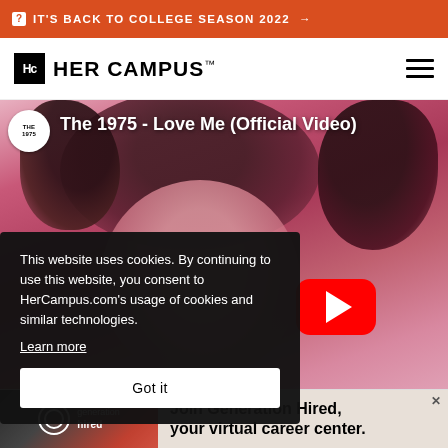IT'S BACK TO COLLEGE SEASON 2022 →
[Figure (logo): Her Campus logo with HC monogram box and text]
[Figure (screenshot): YouTube video thumbnail for 'The 1975 - Love Me (Official Video)' showing a person with curly hair against a pink background with a red YouTube play button overlay]
This website uses cookies. By continuing to use this website, you consent to HerCampus.com's usage of cookies and similar technologies. Learn more
Got it
[Figure (infographic): Generation Hired advertisement: 'Join Generation Hired, your virtual career center.']